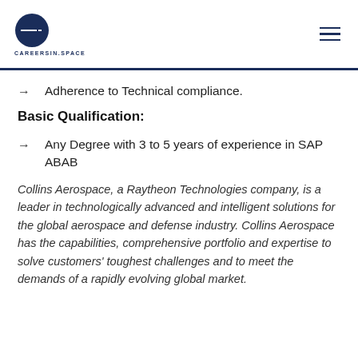CAREERSINSPACE
Adherence to Technical compliance.
Basic Qualification:
Any Degree with 3 to 5 years of experience in SAP ABAB
Collins Aerospace, a Raytheon Technologies company, is a leader in technologically advanced and intelligent solutions for the global aerospace and defense industry. Collins Aerospace has the capabilities, comprehensive portfolio and expertise to solve customers' toughest challenges and to meet the demands of a rapidly evolving global market.